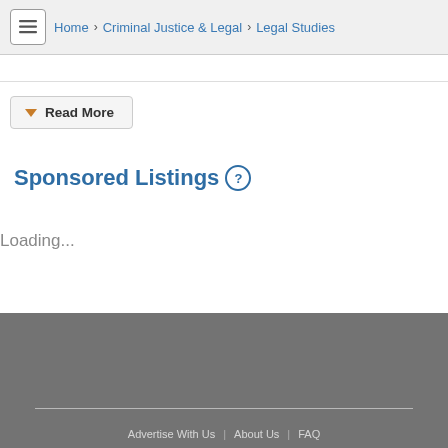Home > Criminal Justice & Legal > Legal Studies
Read More
Sponsored Listings ?
Loading...
Advertise With Us | About Us | FAQ